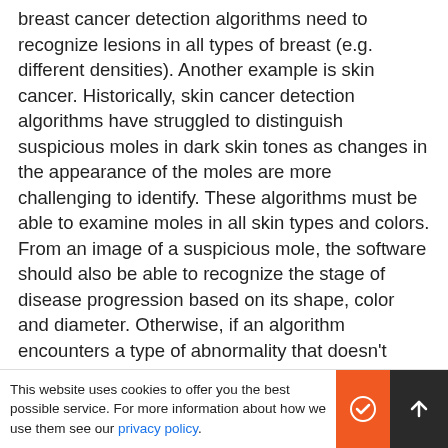breast cancer detection algorithms need to recognize lesions in all types of breast (e.g. different densities). Another example is skin cancer. Historically, skin cancer detection algorithms have struggled to distinguish suspicious moles in dark skin tones as changes in the appearance of the moles are more challenging to identify. These algorithms must be able to examine moles in all skin types and colors. From an image of a suspicious mole, the software should also be able to recognize the stage of disease progression based on its shape, color and diameter. Otherwise, if an algorithm encounters a type of abnormality that doesn't match any of the conditions it recognizes, it will classify it as "not dangerous" as it doesn't associate it with any condition that it knows. Having a diverse data set also helps to prevent bias (the
This website uses cookies to offer you the best possible service. For more information about how we use them see our privacy policy.